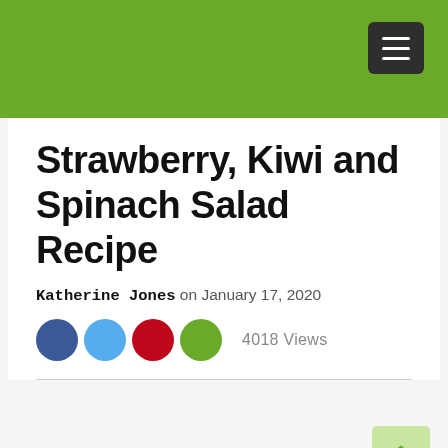Strawberry, Kiwi and Spinach Salad Recipe
Katherine Jones on January 17, 2020
4018 Views